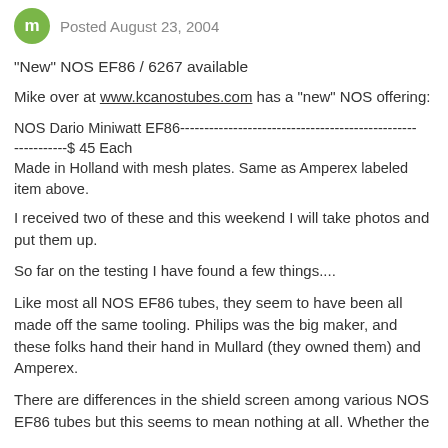Posted August 23, 2004
"New" NOS EF86 / 6267 available
Mike over at www.kcanostubes.com has a "new" NOS offering:
NOS Dario Miniwatt EF86-------------------------------------------------------$ 45 Each
Made in Holland with mesh plates. Same as Amperex labeled item above.
I received two of these and this weekend I will take photos and put them up.
So far on the testing I have found a few things....
Like most all NOS EF86 tubes, they seem to have been all made off the same tooling. Philips was the big maker, and these folks hand their hand in Mullard (they owned them) and Amperex.
There are differences in the shield screen among various NOS EF86 tubes but this seems to mean nothing at all. Whether the